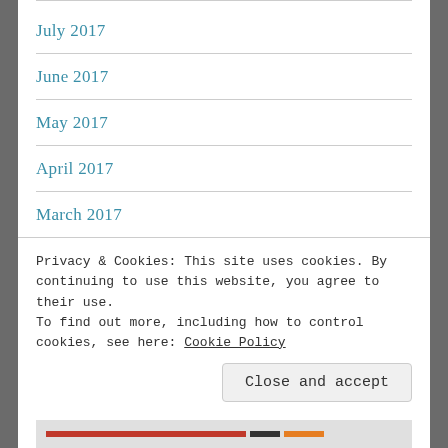July 2017
June 2017
May 2017
April 2017
March 2017
February 2017
January 2017
Privacy & Cookies: This site uses cookies. By continuing to use this website, you agree to their use. To find out more, including how to control cookies, see here: Cookie Policy
Close and accept